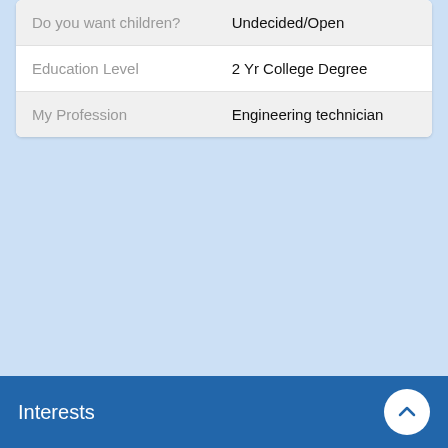| Do you want children? | Undecided/Open |
| Education Level | 2 Yr College Degree |
| My Profession | Engineering technician |
Interests